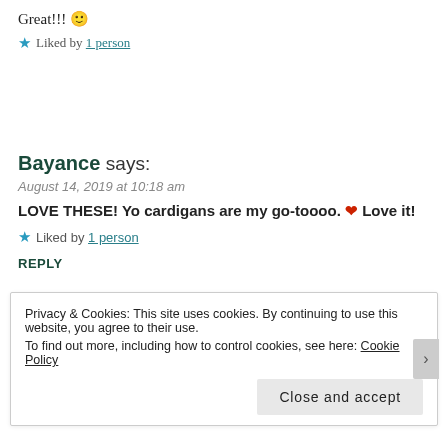Great!!! 🙂
★ Liked by 1 person
Bayance says:
August 14, 2019 at 10:18 am
LOVE THESE! Yo cardigans are my go-toooo. ❤ Love it!
★ Liked by 1 person
REPLY
Privacy & Cookies: This site uses cookies. By continuing to use this website, you agree to their use. To find out more, including how to control cookies, see here: Cookie Policy
Close and accept